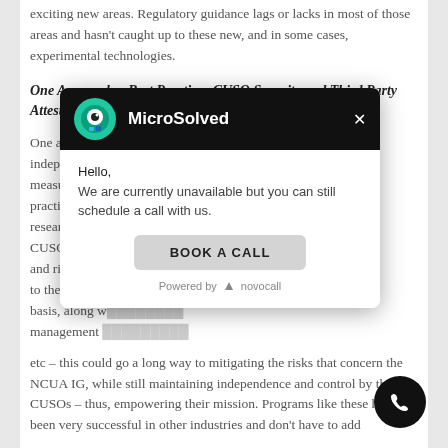exciting new areas. Regulatory guidance lags or lacks in most of those areas and hasn't caught up to these new, and in some cases, experimental technologies.
One Approach – Best Practices CUSO Security and Third Party Attestation
One approach... independent th... measure the C... practices that ... research or in... CUSO build a... and risk mana... to the NCUA. ... basis, along w... management ... etc – this could go a long way to mitigating the risks that concern the NCUA IG, while still maintaining independence and control by the CUSOs – thus, empowering their mission. Programs like these have been very successful in other industries and don't have to add
[Figure (screenshot): MicroSolved chat popup widget. Header is black with MicroSolved logo and name. Body shows 'Hello, We are currently unavailable but you can still schedule a call with us.' and a 'BOOK A CALL' button. Footer shows 'Powered by novocall'. A phone icon button appears in the bottom-right corner.]